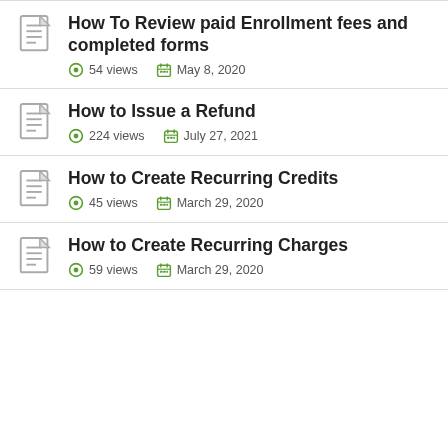How To Review paid Enrollment fees and completed forms — 54 views — May 8, 2020
How to Issue a Refund — 224 views — July 27, 2021
How to Create Recurring Credits — 45 views — March 29, 2020
How to Create Recurring Charges — 59 views — March 29, 2020